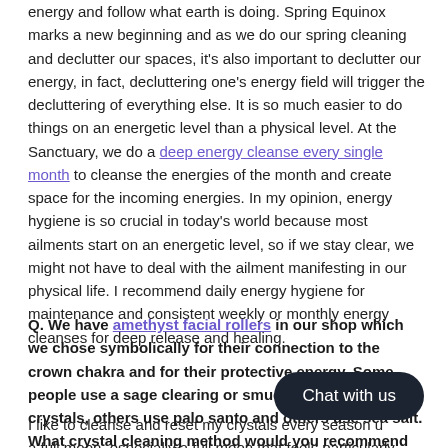energy and follow what earth is doing. Spring Equinox marks a new beginning and as we do our spring cleaning and declutter our spaces, it's also important to declutter our energy, in fact, decluttering one's energy field will trigger the decluttering of everything else. It is so much easier to do things on an energetic level than a physical level. At the Sanctuary, we do a deep energy cleanse every single month to cleanse the energies of the month and create space for the incoming energies. In my opinion, energy hygiene is so crucial in today's world because most ailments start on an energetic level, so if we stay clear, we might not have to deal with the ailment manifesting in our physical life. I recommend daily energy hygiene for maintenance and consistent weekly or monthly energy cleanses for deep release and healing.
Q. We have amethyst facial rollers in our shop which we chose symbolically for their connection to the crown chakra and for their protective energy. Some people use a sage clearing or smudge to cleanse their crystals, others use palo santo and others use sea salt. What crystal cleaning method would you recommend for those new to crystals and where could our readers find the items needed?
I like to cleanse and reset my crystals every season using a full moon, especially a full moon that feels particularly powerful. I place my crystals in a bowl of water with a pinch of salt and place them outside (or by a